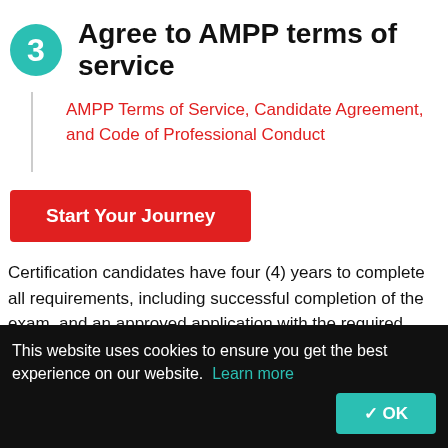3  Agree to AMPP terms of service
AMPP Terms of Service, Candidate Agreement, and Code of Professional Conduct
Start Your Journey
Certification candidates have four (4) years to complete all requirements, including successful completion of the exam, and an approved application with the required work experience and education requirements.
This website uses cookies to ensure you get the best experience on our website.  Learn more